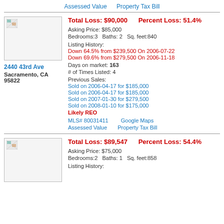Assessed Value   Property Tax Bill
[Figure (photo): Property thumbnail image placeholder for 2440 43rd Ave]
2440 43rd Ave
Sacramento, CA 95822
Total Loss: $90,000   Percent Loss: 51.4%
Asking Price: $85,000
Bedrooms:3   Baths: 2   Sq. feet:840
Listing History:
Down 64.5% from $239,500 On 2006-07-22
Down 69.6% from $279,500 On 2006-11-18
Days on market: 163
# of Times Listed: 4
Previous Sales:
Sold on 2006-04-17 for $185,000
Sold on 2006-04-17 for $185,000
Sold on 2007-01-30 for $279,500
Sold on 2008-01-10 for $175,000
Likely REO
MLS# 80031411   Google Maps
Assessed Value   Property Tax Bill
[Figure (photo): Property thumbnail image placeholder for second listing]
Total Loss: $89,547   Percent Loss: 54.4%
Asking Price: $75,000
Bedrooms:2   Baths: 1   Sq. feet:858
Listing History: